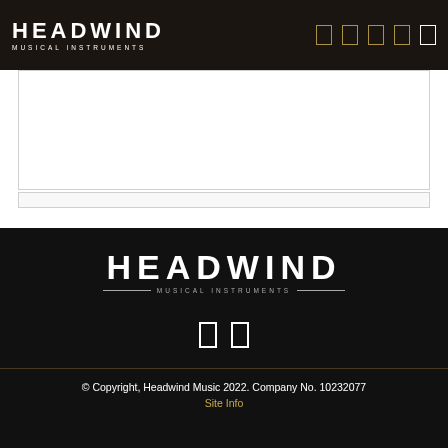HEADWIND MUSICAL INSTRUMENTS
[Figure (logo): Headwind Musical Instruments logo in footer, white text on black background with decorative lines]
© Copyright, Headwind Music 2022. Company No. 10232077 Site Info